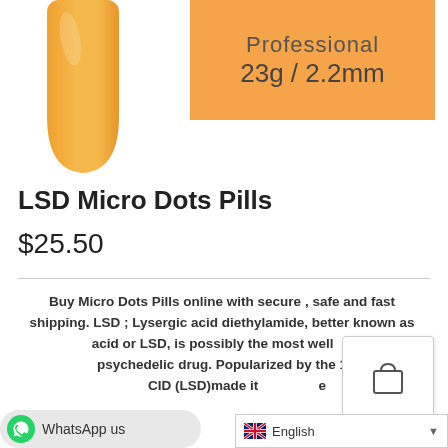[Figure (photo): Orange pill/capsule product image with orange label box showing 'Professional 23g / 2.2mm']
LSD Micro Dots Pills
$25.50
Buy Micro Dots Pills online with secure , safe and fast shipping. LSD ; Lysergic acid diethylamide, better known as acid or LSD, is possibly the most well known psychedelic drug. Popularized by the 1 CID (LSD)made it... e
[Figure (logo): WhatsApp icon with 'WhatsApp us' label]
[Figure (other): Shopping cart icon overlay]
[Figure (other): English language selector bar with UK flag]